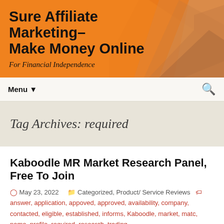Sure Affiliate Marketing–Make Money Online
For Financial Independence
Menu ▼
Tag Archives: required
Kaboodle MR Market Research Panel, Free To Join
May 23, 2022   Categorized, Product/ Service Reviews   answer, application, appoved, approved, availability, company, contacted, eligible, established, informs, Kaboodle, market, matc, name, profile, required, research, trading